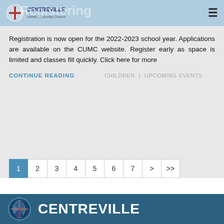Centreville United Methodist Church
Registration is now open for the 2022-2023 school year. Applications are available on the CUMC website. Register early as space is limited and classes fill quickly. Click here for more
CONTINUE READING    CHILDREN  |  UPCOMING EVENTS
1 2 3 4 5 6 7 > >>
CENTREVILLE